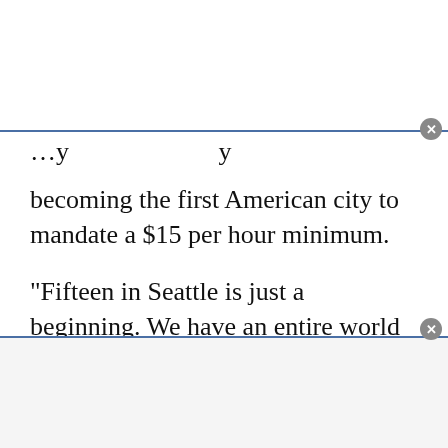becoming the first American city to mandate a $15 per hour minimum.
"Fifteen in Seattle is just a beginning. We have an entire world to win! Solidarity!" vowed City Councilmember Kshama Sawant.
New York state and many cities followed in Seattle's footsteps.